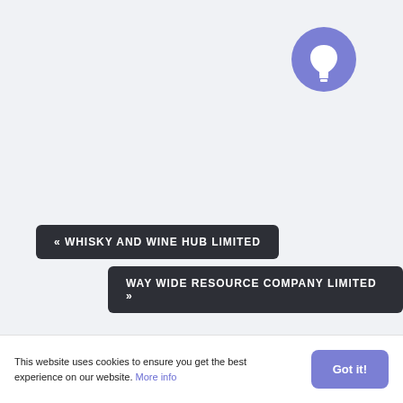[Figure (illustration): A purple/blue circular icon with a white lightbulb silhouette in the center, positioned in the upper-right area of the page]
« WHISKY AND WINE HUB LIMITED
WAY WIDE RESOURCE COMPANY LIMITED »
This website uses cookies to ensure you get the best experience on our website. More info
Got it!